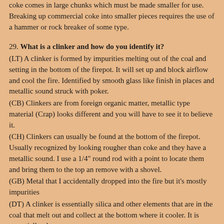coke comes in large chunks which must be made smaller for use. Breaking up commercial coke into smaller pieces requires the use of a hammer or rock breaker of some type.
29. What is a clinker and how do you identify it?
(LT) A clinker is formed by impurities melting out of the coal and setting in the bottom of the firepot. It will set up and block airflow and cool the fire. Identified by smooth glass like finish in places and metallic sound struck with poker.
(CB) Clinkers are from foreign organic matter, metallic type material (Crap) looks different and you will have to see it to believe it.
(CH) Clinkers can usually be found at the bottom of the firepot. Usually recognized by looking rougher than coke and they have a metallic sound. I use a 1/4" round rod with a point to locate them and bring them to the top an remove with a shovel.
(GB) Metal that I accidentally dropped into the fire but it's mostly impurities
(DT) A clinker is essentially silica and other elements that are in the coal that melt out and collect at the bottom where it cooler. It is essentially glass.
(DN) The best coals produce the least clinker. Different coals and commercial cokes produce different quantities and types of clinker. Some clinkers stick together and some fall apart easily. Clinker forms in the bottom of the firepot